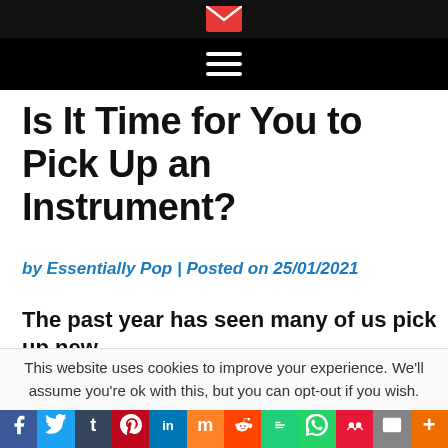Essentially Pop website header with email icon and hamburger menu
Is It Time for You to Pick Up an Instrument?
by Essentially Pop | Posted on 25/01/2021
The past year has seen many of us pick up new
This website uses cookies to improve your experience. We'll assume you're ok with this, but you can opt-out if you wish.
Social share bar: Facebook, Twitter, Tumblr, Pinterest, LinkedIn, Mix, Reddit, Gab, WhatsApp, MeWe, Email, More